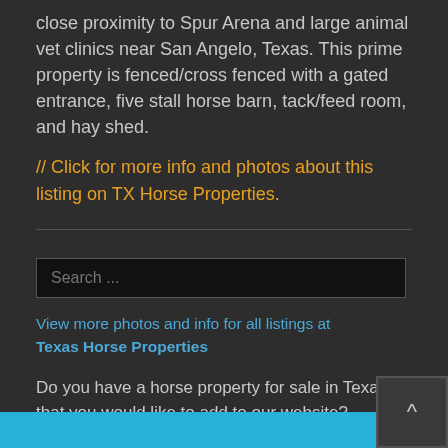close proximity to Spur Arena and large animal vet clinics near San Angelo, Texas. This prime property is fenced/cross fenced with a gated entrance, five stall horse barn, tack/feed room, and hay shed.
// Click for more info and photos about this listing on TX Horse Properties.
Search ...
View more photos and info for all listings at Texas Horse Properties
Do you have a horse property for sale in Texas that you would like to add to our website?